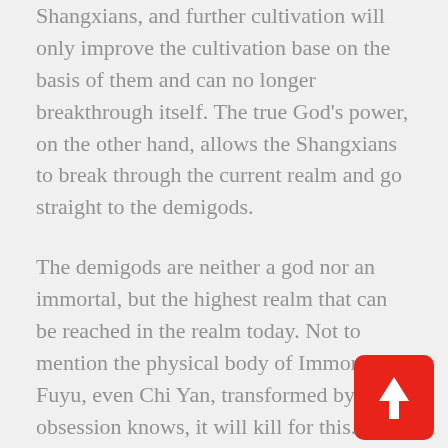Shangxians, and further cultivation will only improve the cultivation base on the basis of them and can no longer breakthrough itself. The true God’s power, on the other hand, allows the Shangxians to break through the current realm and go straight to the demigods.
The demigods are neither a god nor an immortal, but the highest realm that can be reached in the realm today. Not to mention the physical body of Immortal Fuyu, even Chi Yan, transformed by obsession knows, it will kill for this.
Perhaps, with Fuyu’s close friendship, it will split it with Fuyu…
[Figure (illustration): Red rounded rectangle button with a white upward arrow icon]